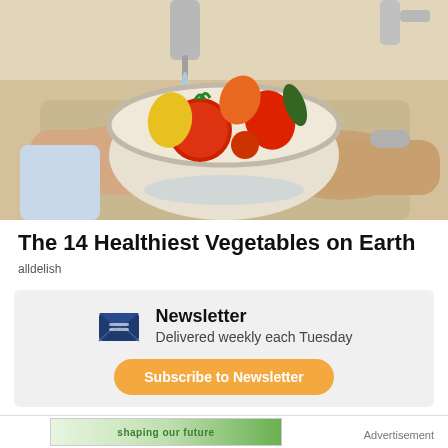[Figure (photo): Person holding a colander of colorful bell peppers and tomatoes under running water at a kitchen sink]
The 14 Healthiest Vegetables on Earth
alldelish
Newsletter
Delivered weekly each Tuesday
Subscribe to Newsletter
Advertisement